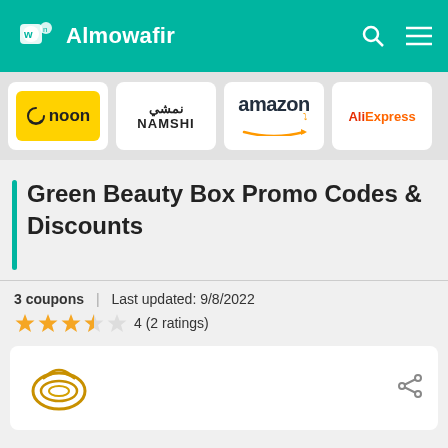Almowafir
[Figure (logo): Noon brand logo - yellow background with noon text]
[Figure (logo): Namshi brand logo - Arabic and English text]
[Figure (logo): Amazon brand logo]
[Figure (logo): AliExpress brand logo]
Green Beauty Box Promo Codes & Discounts
3 coupons | Last updated: 9/8/2022
4 (2 ratings)
[Figure (logo): Green Beauty Box circular logo in gold/orange]